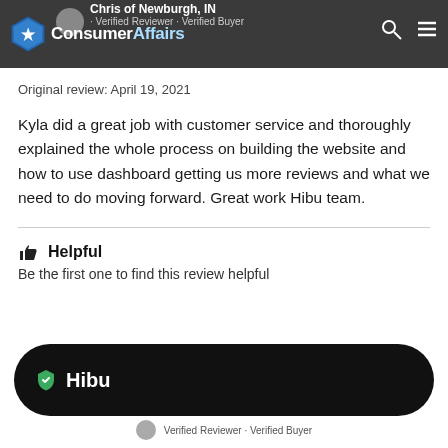ConsumerAffairs — Chris of Newburgh, IN · Verified Reviewer · Verified Buyer
Original review: April 19, 2021
Kyla did a great job with customer service and thoroughly explained the whole process on building the website and how to use dashboard getting us more reviews and what we need to do moving forward. Great work Hibu team.
👍 Helpful
Be the first one to find this review helpful
Hibu